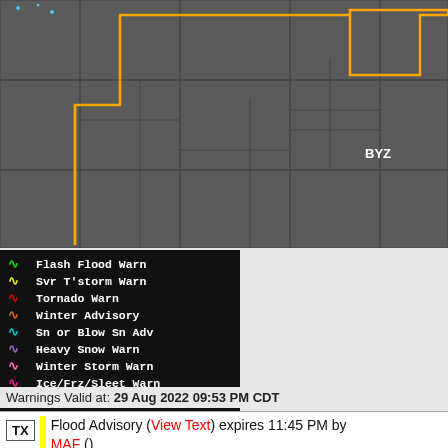[Figure (map): Weather warning map showing county outlines for a region in Texas/surrounding states. Dark gray counties with lighter gray borders. An orange/yellow polygon outline marks a specific warning zone in the northwest portion of the map. 'BYZ' label visible in the right-center area of the map.]
[Figure (infographic): Legend box with black background listing weather warning types with colored zigzag line icons: Flash Flood Warn (green), Svr T'storm Warn (yellow), Tornado Warn (red), Winter Advisory (orange), Sn or Blow Sn Adv (cyan), Heavy Snow Warn (purple), Winter Storm Warn (pink/magenta), Ice/Frz/Sleet Warn (hot pink), Blizzard Warn (red)]
Warnings Valid at: 29 Aug 2022 09:53 PM CDT
TX  Flood Advisory (View Text) expires 11:45 PM by MAF ()